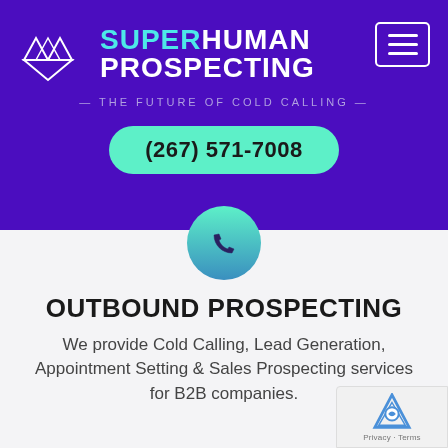[Figure (logo): Superhuman Prospecting logo with geometric diamond/triangle pattern and text. Tagline: THE FUTURE OF COLD CALLING]
(267) 571-7008
OUTBOUND PROSPECTING
We provide Cold Calling, Lead Generation, Appointment Setting & Sales Prospecting services for B2B companies.